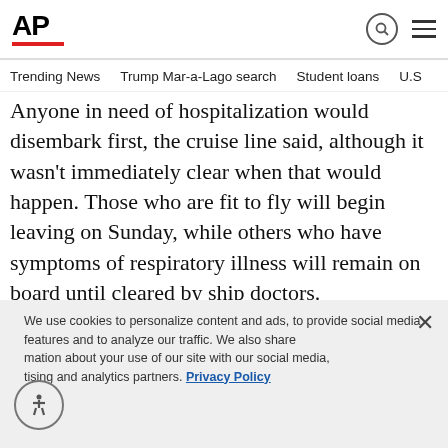AP
Trending News   Trump Mar-a-Lago search   Student loans   U.S.
Anyone in need of hospitalization would disembark first, the cruise line said, although it wasn’t immediately clear when that would happen. Those who are fit to fly will begin leaving on Sunday, while others who have symptoms of respiratory illness will remain on board until cleared by ship doctors.
ADVERTISEMENT
We use cookies to personalize content and ads, to provide social media features and to analyze our traffic. We also share information about your use of our site with our social media, advertising and analytics partners. Privacy Policy